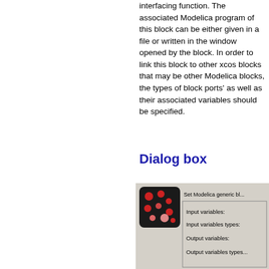interfacing function. The associated Modelica program of this block can be either given in a file or written in the window opened by the block. In order to link this block to other xcos blocks that may be other Modelica blocks, the types of block ports' as well as their associated variables should be specified.
Dialog box
[Figure (screenshot): Dialog box screenshot showing Set Modelica generic block interface with fields: Input variables, Input variables types, Output variables, Output variables types]